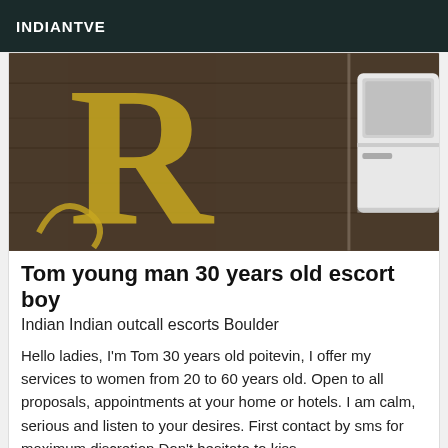INDIANTVE
[Figure (photo): Close-up photo of a decorative surface with golden ornamental design on dark wood, and a white object visible at the right side]
Tom young man 30 years old escort boy
Indian Indian outcall escorts Boulder
Hello ladies, I'm Tom 30 years old poitevin, I offer my services to women from 20 to 60 years old. Open to all proposals, appointments at your home or hotels. I am calm, serious and listen to your desires. First contact by sms for maximum discretion Don't hesitate to kiss
[Figure (other): Second listing card with VIP badge in the top-right corner]